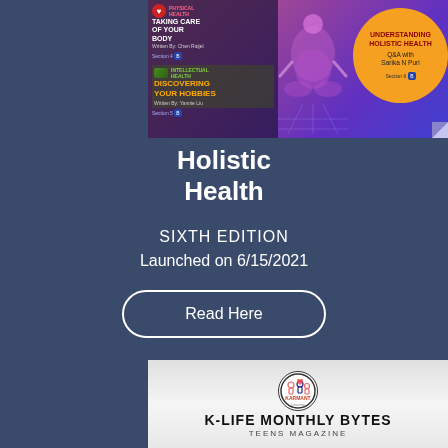[Figure (illustration): Magazine cover for Holistic Health publication showing a meditating figure in purple/pink cosmic background, with left panel showing article sections (physical health, intellectual health) and an orange circle on the right highlighting 'Understanding Holistic Health Q&A with Sarika N Puri']
Holistic Health
SIXTH EDITION
Launched on 6/15/2021
Read Here
[Figure (logo): K-Life Monthly Bytes Teens Magazine logo with circular emblem showing stylized figures, text reads K-LIFE MONTHLY BYTES TEENS MAGAZINE]